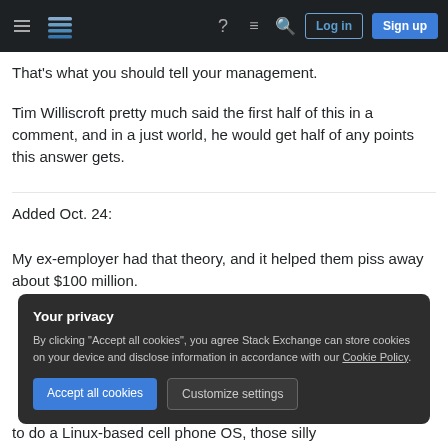Stack Exchange navigation bar with hamburger menu, logo, help, chat, search icons, Log in and Sign up buttons
That's what you should tell your management.
Tim Williscroft pretty much said the first half of this in a comment, and in a just world, he would get half of any points this answer gets.
Added Oct. 24:
My ex-employer had that theory, and it helped them piss away about $100 million.
Your privacy
By clicking "Accept all cookies", you agree Stack Exchange can store cookies on your device and disclose information in accordance with our Cookie Policy.
Accept all cookies   Customize settings
to do a Linux-based cell phone OS, those silly